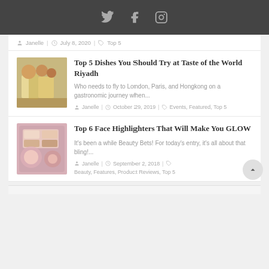Social media icons: Twitter, Facebook, Instagram
Janelle | July 8, 2020 | Top 5
Top 5 Dishes You Should Try at Taste of the World Riyadh
Who needs to fly to London, Paris, and Hongkong on a gastronomic journey when...
Janelle | October 29, 2019 | Events, Featured, Top 5
Top 6 Face Highlighters That Will Make You GLOW
It's been a while Beauty Bets! For today's entry, it's all about that bling!...
Janelle | September 2, 2018 | Beauty, Features, Product Reviews, Top 5